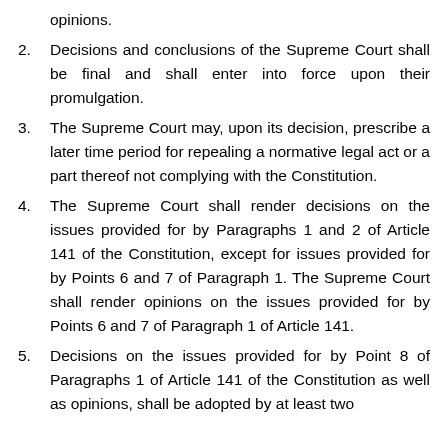opinions.
2. Decisions and conclusions of the Supreme Court shall be final and shall enter into force upon their promulgation.
3. The Supreme Court may, upon its decision, prescribe a later time period for repealing a normative legal act or a part thereof not complying with the Constitution.
4. The Supreme Court shall render decisions on the issues provided for by Paragraphs 1 and 2 of Article 141 of the Constitution, except for issues provided for by Points 6 and 7 of Paragraph 1. The Supreme Court shall render opinions on the issues provided for by Points 6 and 7 of Paragraph 1 of Article 141.
5. Decisions on the issues provided for by Point 8 of Paragraphs 1 of Article 141 of the Constitution as well as opinions, shall be adopted by at least two